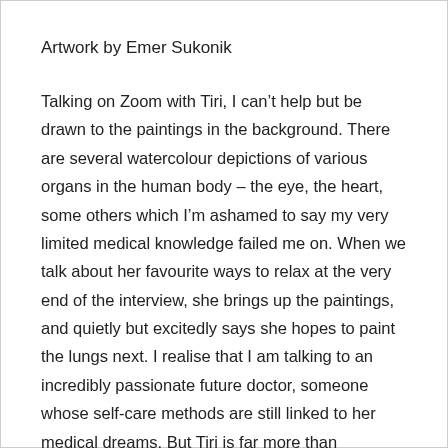Artwork by Emer Sukonik
Talking on Zoom with Tiri, I can't help but be drawn to the paintings in the background. There are several watercolour depictions of various organs in the human body – the eye, the heart, some others which I'm ashamed to say my very limited medical knowledge failed me on. When we talk about her favourite ways to relax at the very end of the interview, she brings up the paintings, and quietly but excitedly says she hopes to paint the lungs next. I realise that I am talking to an incredibly passionate future doctor, someone whose self-care methods are still linked to her medical dreams. But Tiri is far more than